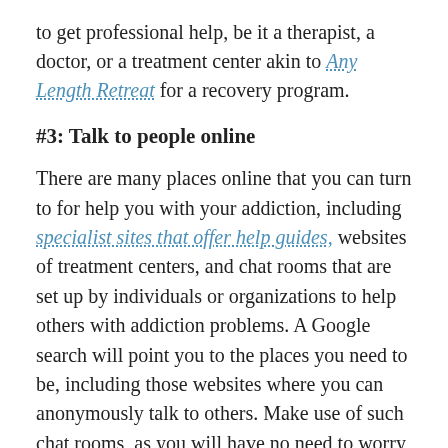to get professional help, be it a therapist, a doctor, or a treatment center akin to Any Length Retreat for a recovery program.
#3: Talk to people online
There are many places online that you can turn to for help you with your addiction, including specialist sites that offer help guides, websites of treatment centers, and chat rooms that are set up by individuals or organizations to help others with addiction problems. A Google search will point you to the places you need to be, including those websites where you can anonymously talk to others. Make use of such chat rooms, as you will have no need to worry about sharing your identity. You can talk to others without fear of judgment, and you should be able to benefit from